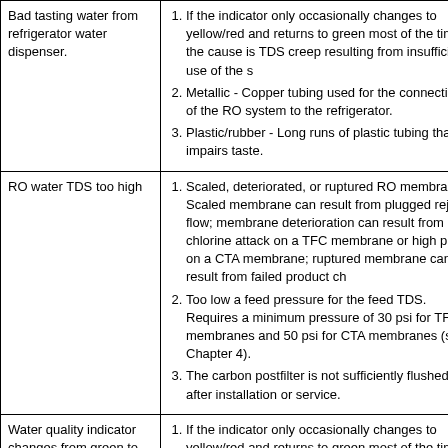| Problem | Possible Cause |
| --- | --- |
| Bad tasting water from refrigerator water dispenser. | 1. If the indicator only occasionally changes to yellow/red and returns to green most of the time, the cause is TDS creep resulting from insufficient use of the system.
2. Metallic - Copper tubing used for the connection of the RO system to the refrigerator.
3. Plastic/rubber - Long runs of plastic tubing that impairs taste. |
| RO water TDS too high | 1. Scaled, deteriorated, or ruptured RO membrane. Scaled membrane can result from plugged reject flow; membrane deterioration can result from chlorine attack on a TFC membrane or high pH on a CTA membrane; ruptured membrane can result from failed product check valve.
2. Too low a feed pressure for the feed TDS. Requires a minimum pressure of 30 psi for TFC membranes and 50 psi for CTA membranes (see Chapter 4).
3. The carbon postfilter is not sufficiently flushed after installation or service. |
| Water quality indicator changes from green to yellow/red (also see RO water TDS too high). | 1. If the indicator only occasionally changes to yellow/red and returns to green most of the time, the cause is TDS creep resulting from insufficient use of the system.
2. If the indicator permanently changes to yellow/red, the membrane may be scaled, deteriorated, or ruptured.
3. The water quality monitor set point is too low (or TDS rejection monitor set point is too high) for the water conditions. |